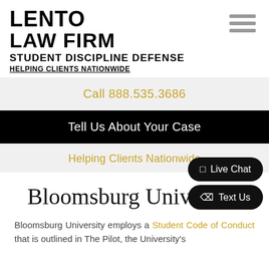LENTO LAW FIRM STUDENT DISCIPLINE DEFENSE HELPING CLIENTS NATIONWIDE
Call 888.535.3686
Tell Us About Your Case
Helping Clients Nationwide
Bloomsburg University
Bloomsburg University employs a Student Code of Conduct that is outlined in The Pilot, the University's